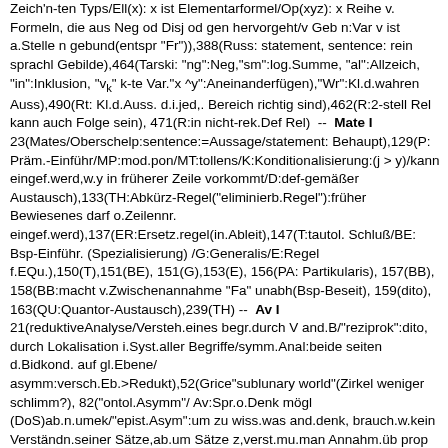Zeich'n-ten Typs/Ell(x): x ist Elementarformel/Op(xyz): x Reihe v. Formeln, die aus Neg od Disj od gen hervorgeht/v Geb n:Var v ist a.Stelle n gebund(entspr "Fr")),388(Russ: statement, sentence: rein sprachl Gebilde),464(Tarski: "ng":Neg,"sm":log.Summe, "al":Allzeich, "in":Inklusion, "v_k" k-te Var."x ^y":Aneinanderfügen),"Wr":Kl.d.wahren Auss),490(Rt: Kl.d.Auss. d.i.jed,. Bereich richtig sind),462(R:2-stell Rel kann auch Folge sein), 471(R:in nicht-rek.Def Rel)  --  Mate I 23(Mates/Oberschelp:sentence:=Aussage/statement: Behaupt),129(P: Präm.-Einführ/MP:mod.pon/MT:tollens/K:Konditionalisierung:(j > y)/kann eingef.werd,w.y in früherer Zeile vorkommt/D:def-gemäßer Austausch),133(TH:Abkürz-Regel("eliminierb.Regel"):früher Bewiesenes darf o.Zeilennr. eingef.werd),137(ER:Ersetz.regel(in.Ableit),147(T:tautol. Schluß/BE: Bsp-Einführ. (Spezialisierung) /G:Generalis/E:Regel f.EQu.),150(T),151(BE), 151(G),153(E), 156(PA: Partikularis), 157(BB), 158(BB:macht v.Zwischenannahme "Fa" unabh(Bsp-Beseit), 159(dito), 163(QU:Quantor-Austausch),239(TH) --  Av I 21(reduktiveAnalyse/Versteh.eines begr.durch V and.B/"reziprok":dito, durch Lokalisation i.Syst.aller Begriffe/symm.Anal:beide seiten d.Bidkond. auf gl.Ebene/ asymm:versch.Eb.>Redukt),52(Grice"sublunary world"(Zirkel weniger schlimm?), 82("ontol.Asymm"/ Av:Spr.o.Denk mögl (DoS)ab.n.umek/"epist.Asym":um zu wiss.was and.denk, brauch.w.kein Verständn.seiner Sätze,ab.um Sätze z,verst.mu.man Annahm.üb prop Einst mach),84(oberflächl. epist.Asym:zw.psych./seman.Begr.:psych.Tats.leichter zugängl.),94(tiefe ep.Asym:BT mögl.u.gleichzeit.akeptieren, daß RI unmögl./untersch:Bedeut.konstituier/ sie"verraten"),95(def tiefe eA:wenn per imposs)Kenntn.d.Blaub.o.Spr.weißb,dann sind diese